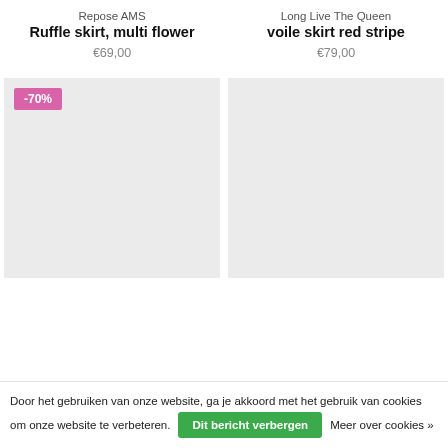Repose AMS
Ruffle skirt, multi flower
€69,00
Long Live The Queen
voile skirt red stripe
€79,00
[Figure (photo): Left product image card with -70% discount badge (pink), light gray placeholder background]
[Figure (photo): Right product image card, light gray placeholder background, no badge]
Door het gebruiken van onze website, ga je akkoord met het gebruik van cookies om onze website te verbeteren.
Dit bericht verbergen
Meer over cookies »